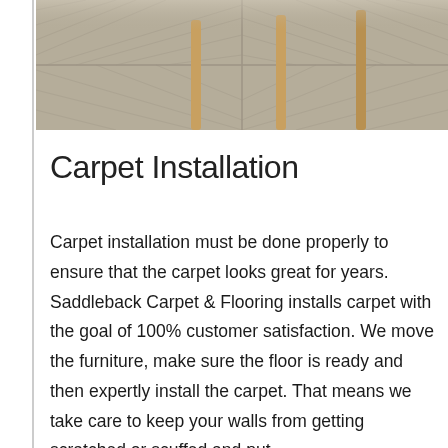[Figure (photo): A photo of carpet tiles in a herringbone pattern with wooden chair legs visible at the top, showing a beige/taupe textured carpet floor.]
Carpet Installation
Carpet installation must be done properly to ensure that the carpet looks great for years. Saddleback Carpet & Flooring installs carpet with the goal of 100% customer satisfaction. We move the furniture, make sure the floor is ready and then expertly install the carpet. That means we take care to keep your walls from getting scratched or scuffed and put